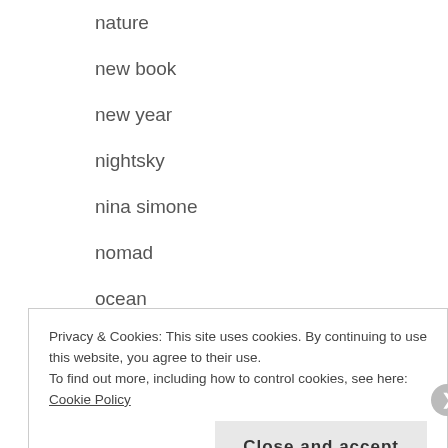nature
new book
new year
nightsky
nina simone
nomad
ocean
optimism
orangejuice
orion
Privacy & Cookies: This site uses cookies. By continuing to use this website, you agree to their use.
To find out more, including how to control cookies, see here: Cookie Policy
Close and accept